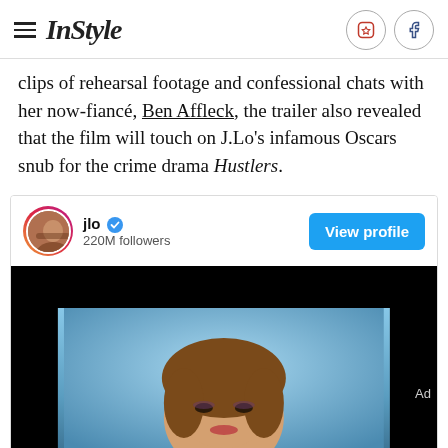InStyle
clips of rehearsal footage and confessional chats with her now-fiancé, Ben Affleck, the trailer also revealed that the film will touch on J.Lo's infamous Oscars snub for the crime drama Hustlers.
[Figure (screenshot): Instagram embed card for @jlo with 220M followers, a View profile button, and a video thumbnail showing J.Lo against a blue background]